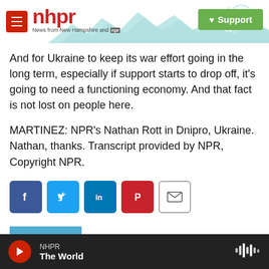nhpr — News from New Hampshire and NPR | Support
And for Ukraine to keep its war effort going in the long term, especially if support starts to drop off, it's going to need a functioning economy. And that fact is not lost on people here.
MARTINEZ: NPR's Nathan Rott in Dnipro, Ukraine. Nathan, thanks. Transcript provided by NPR, Copyright NPR.
[Figure (other): Social sharing buttons: Facebook, Twitter, LinkedIn, Pinterest, Email]
[Figure (photo): Author photo of A Martínez with blue background]
A Martínez
NHPR — The World (audio player bar)